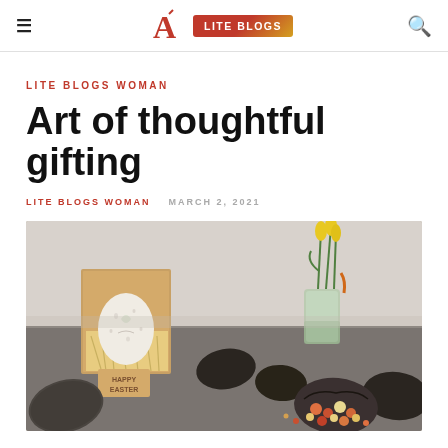≡  A  LITE BLOGS  🔍
LITE BLOGS WOMAN
Art of thoughtful gifting
LITE BLOGS WOMAN   MARCH 2, 2021
[Figure (photo): Easter chocolate eggs arranged on a dark surface: a decorated speckled egg in a kraft paper gift box filled with straw with a 'HAPPY EASTER' wooden tag, several dark chocolate eggs, a cracked egg filled with colorful chocolate balls, and a glass vase with yellow tulips in the background.]